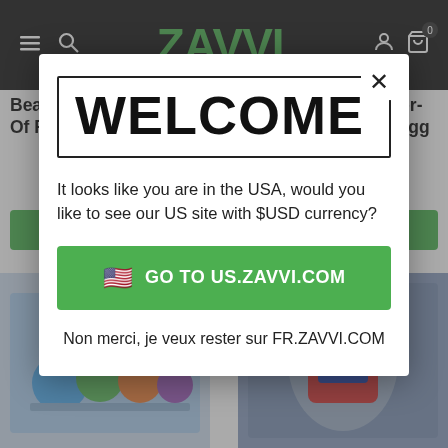ZAVVI
Beast Kingdom The King Of Fighters '98 D-Stage
Beast Kingdom Spider-Man: No Way Home Egg
WELCOME
It looks like you are in the USA, would you like to see our US site with $USD currency?
GO TO US.ZAVVI.COM
Non merci, je veux rester sur FR.ZAVVI.COM